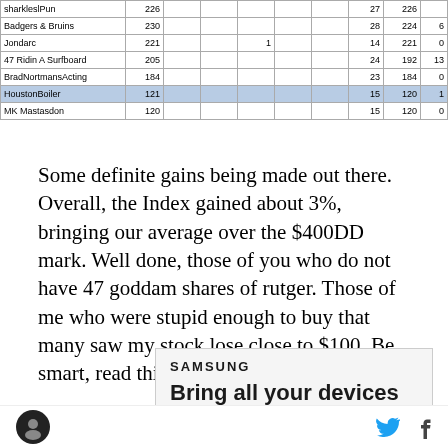| Name | Val1 |  |  |  |  |  |  | Col8 | Col9 | Col10 |
| --- | --- | --- | --- | --- | --- | --- | --- | --- | --- | --- |
| sharkleslPun | 226 |  |  |  |  |  | 27 | 226 |  |
| Badgers & Bruins | 230 |  |  |  |  |  | 28 | 224 | 6 |
| Jondarc | 221 |  |  | 1 |  |  | 14 | 221 | 0 |
| 47 Ridin A Surfboard | 205 |  |  |  |  |  | 24 | 192 | 13 |
| BradNortmansActing | 184 |  |  |  |  |  | 23 | 184 | 0 |
| HoustonBoiler | 121 |  |  |  |  |  | 15 | 120 | 1 |
| MK Mastasdon | 120 |  |  |  |  |  | 15 | 120 | 0 |
Some definite gains being made out there. Overall, the Index gained about 3%, bringing our average over the $400DD mark. Well done, those of you who do not have 47 goddam shares of rutger. Those of me who were stupid enough to buy that many saw my stock lose close to $100. Be smart, read this:
[Figure (screenshot): Samsung advertisement: 'SAMSUNG' logo in bold uppercase, tagline 'Bring all your devices into the fold']
Logo icon | Twitter icon | Facebook icon